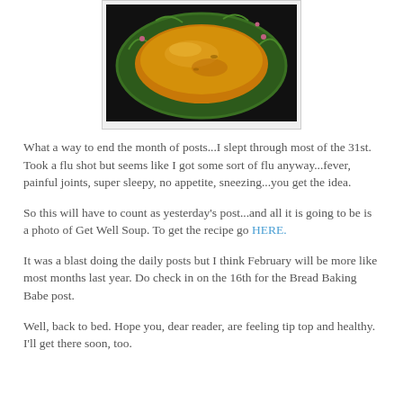[Figure (photo): Photo of a bowl of soup (Get Well Soup) on a decorative plate with a green leaf/floral rim pattern, seen from above against a dark background.]
What a way to end the month of posts...I slept through most of the 31st. Took a flu shot but seems like I got some sort of flu anyway...fever, painful joints, super sleepy, no appetite, sneezing...you get the idea.
So this will have to count as yesterday's post...and all it is going to be is a photo of Get Well Soup. To get the recipe go HERE.
It was a blast doing the daily posts but I think February will be more like most months last year. Do check in on the 16th for the Bread Baking Babe post.
Well, back to bed. Hope you, dear reader, are feeling tip top and healthy. I'll get there soon, too.